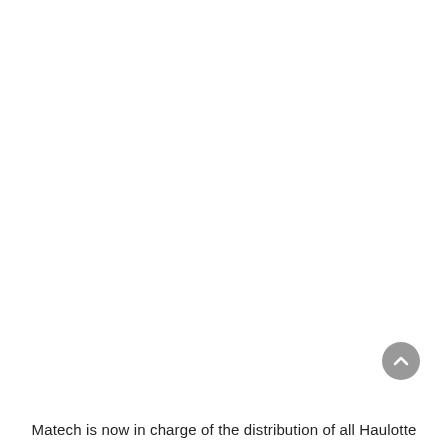[Figure (other): Scroll-to-top button: a circular grey button with an upward-pointing chevron arrow, positioned near the bottom-right of the page.]
Matech is now in charge of the distribution of all Haulotte